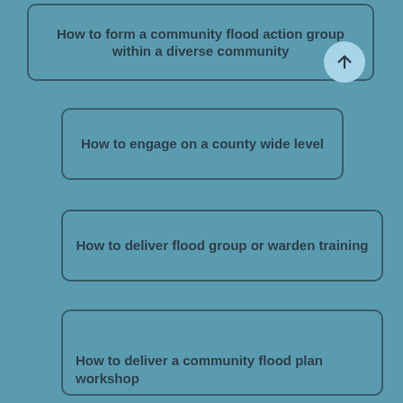How to form a community flood action group within a diverse community
How to engage on a county wide level
How to deliver flood group or warden training
How to deliver a community flood plan workshop